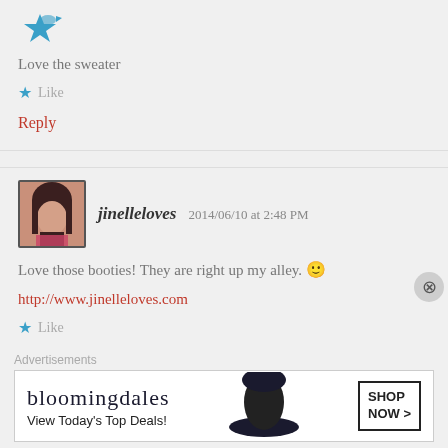[Figure (logo): Blue decorative bird/star icon avatar]
Love the sweater
★ Like
Reply
[Figure (photo): Profile photo of jinelleloves, woman with long dark hair, pink top]
jinelleloves   2014/06/10 at 2:48 PM
Love those booties! They are right up my alley. 🙂
http://www.jinelleloves.com
★ Like
Advertisements
[Figure (infographic): Bloomingdale's advertisement banner: 'bloomingdales View Today's Top Deals! SHOP NOW >']